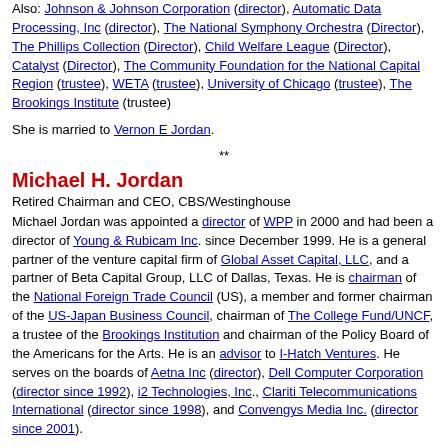Also: Johnson & Johnson Corporation (director), Automatic Data Processing, Inc (director), The National Symphony Orchestra (Director), The Phillips Collection (Director), Child Welfare League (Director), Catalyst (Director), The Community Foundation for the National Capital Region (trustee), WETA (trustee), University of Chicago (trustee), The Brookings Institute (trustee)
She is married to Vernon E Jordan.
**
Michael H. Jordan
Retired Chairman and CEO, CBS/Westinghouse
Michael Jordan was appointed a director of WPP in 2000 and had been a director of Young & Rubicam Inc. since December 1999. He is a general partner of the venture capital firm of Global Asset Capital, LLC, and a partner of Beta Capital Group, LLC of Dallas, Texas. He is chairman of the National Foreign Trade Council (US), a member and former chairman of the US-Japan Business Council, chairman of The College Fund/UNCF, a trustee of the Brookings Institution and chairman of the Policy Board of the Americans for the Arts. He is an advisor to I-Hatch Ventures. He serves on the boards of Aetna Inc (director), Dell Computer Corporation (director since 1992), i2 Technologies, Inc., Clariti Telecommunications International (director since 1998), and Convergys Media Inc. (director since 2001).